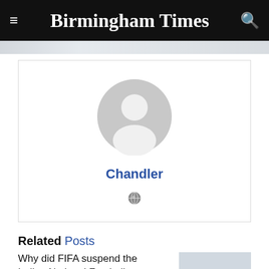Birmingham Times
[Figure (illustration): Generic user avatar placeholder — grey circle with head/shoulders silhouette]
Chandler
[Figure (illustration): Small globe/web icon]
Related Posts
Why did FIFA suspend the Indian National Football Federation?